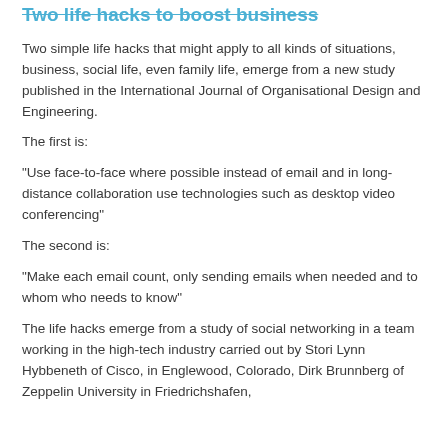Two life hacks to boost business
Two simple life hacks that might apply to all kinds of situations, business, social life, even family life, emerge from a new study published in the International Journal of Organisational Design and Engineering.
The first is:
“Use face-to-face where possible instead of email and in long-distance collaboration use technologies such as desktop video conferencing”
The second is:
“Make each email count, only sending emails when needed and to whom who needs to know”
The life hacks emerge from a study of social networking in a team working in the high-tech industry carried out by Stori Lynn Hybbeneth of Cisco, in Englewood, Colorado, Dirk Brunnberg of Zeppelin University in Friedrichshafen,